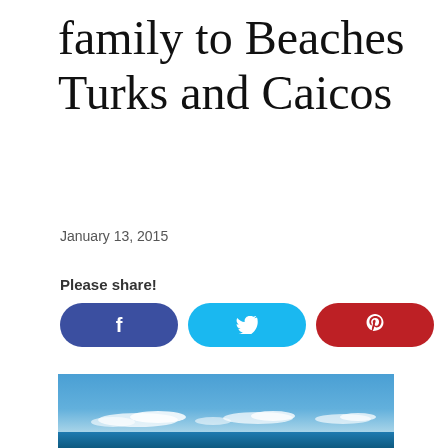family to Beaches Turks and Caicos
January 13, 2015
Please share!
[Figure (other): Social share buttons: Facebook (blue pill button with f icon), Twitter (cyan pill button with bird icon), Pinterest (red pill button with P icon)]
[Figure (photo): Panoramic beach photo showing blue sky with scattered white clouds above a calm turquoise sea near Turks and Caicos]